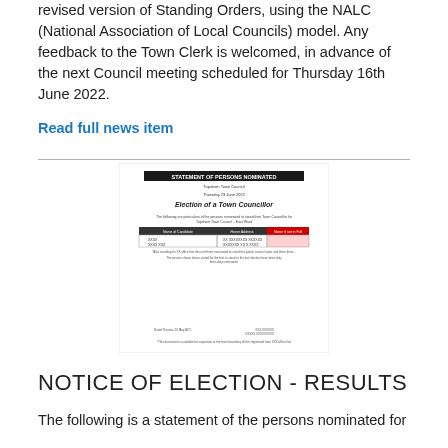revised version of Standing Orders, using the NALC (National Association of Local Councils) model. Any feedback to the Town Clerk is welcomed, in advance of the next Council meeting scheduled for Thursday 16th June 2022.
Read full news item
[Figure (screenshot): A scanned document titled 'STATEMENT OF PERSONS NOMINATED' for Topsham Town Council, showing 'Election of a Town Councillor' for the East Ward, with a table of nominated persons, dated Thursday 23 June 2022.]
NOTICE OF ELECTION - RESULTS
The following is a statement of the persons nominated for